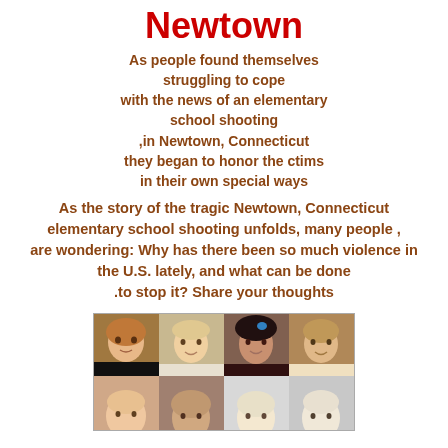Newtown
As people found themselves struggling to cope with the news of an elementary school shooting ,in Newtown, Connecticut they began to honor the ctims in their own special ways
As the story of the tragic Newtown, Connecticut elementary school shooting unfolds, many people , are wondering: Why has there been so much violence in the U.S. lately, and what can be done .to stop it? Share your thoughts
[Figure (photo): Grid of children's photos, two rows of four photos each showing young children]